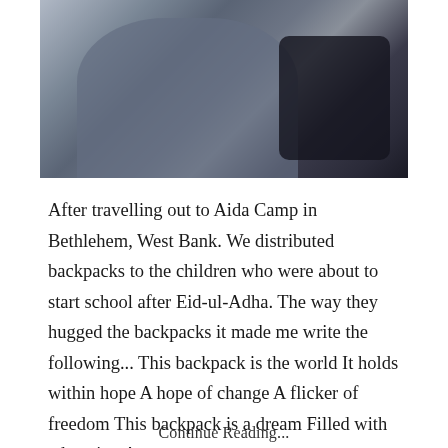[Figure (photo): A person wearing a grey t-shirt photographed from the back, carrying or holding a dark backpack. The image shows the upper body and back of the person.]
After travelling out to Aida Camp in Bethlehem, West Bank. We distributed backpacks to the children who were about to start school after Eid-ul-Adha. The way they hugged the backpacks it made me write the following... This backpack is the world It holds within hope A hope of change A flicker of freedom This backpack is a dream Filled with education A ...
Continue Reading...